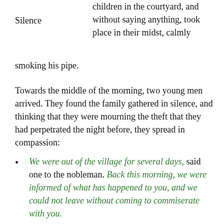children in the courtyard, and Silence without saying anything, took place in their midst, calmly smoking his pipe.
Towards the middle of the morning, two young men arrived. They found the family gathered in silence, and thinking that they were mourning the theft that they had perpetrated the night before, they spread in compassion:
We were out of the village for several days, said one to the nobleman. Back this morning, we were informed of what has happened to you, and we could not leave without coming to commiserate with you.